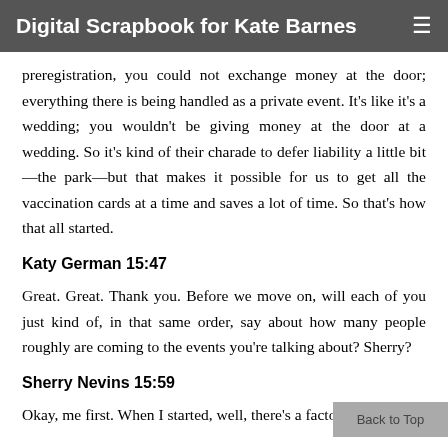Digital Scrapbook for Kate Barnes
preregistration, you could not exchange money at the door; everything there is being handled as a private event. It's like it's a wedding; you wouldn't be giving money at the door at a wedding. So it's kind of their charade to defer liability a little bit —the park—but that makes it possible for us to get all the vaccination cards at a time and saves a lot of time. So that's how that all started.
Katy German 15:47
Great. Great. Thank you. Before we move on, will each of you just kind of, in that same order, say about how many people roughly are coming to the events you're talking about? Sherry?
Sherry Nevins 15:59
Okay, me first. When I started, well, there's a factor that I